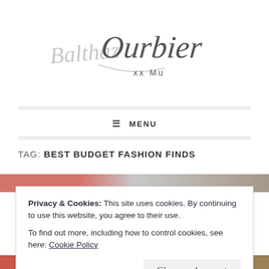[Figure (logo): Handwritten cursive signature logo reading 'Balthazar Ourbier xx Mu']
≡ MENU
TAG: BEST BUDGET FASHION FINDS
[Figure (photo): Partial photo strip showing fashion images at top and bottom]
Privacy & Cookies: This site uses cookies. By continuing to use this website, you agree to their use.
To find out more, including how to control cookies, see here: Cookie Policy
Close and accept